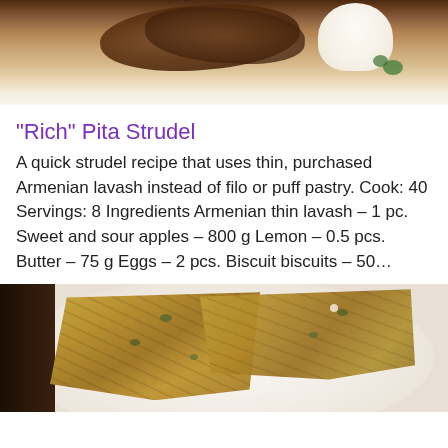[Figure (photo): Top portion of food photo showing a dessert dish on a plate with what appears to be a pastry or strudel with ice cream, viewed from above on a decorative plate]
“Rich” Pita Strudel
A quick strudel recipe that uses thin, purchased Armenian lavash instead of filo or puff pastry. Cook: 40 Servings: 8 Ingredients Armenian thin lavash – 1 pc. Sweet and sour apples – 800 g Lemon – 0.5 pcs. Butter – 75 g Eggs – 2 pcs. Biscuit biscuits – 50…
[Figure (photo): Photo of two triangular slices of savory pita or flatbread pie (lavash pie) on a white plate, showing golden-brown baked dough with visible green herb and vegetable filling inside]